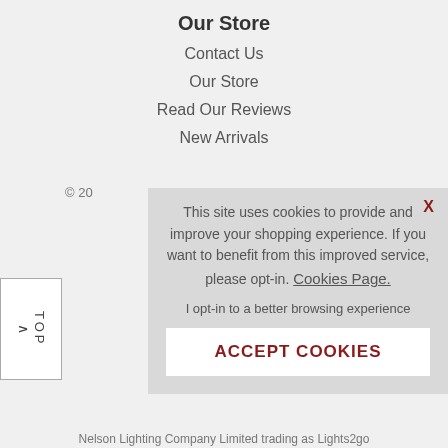Our Store
Contact Us
Our Store
Read Our Reviews
New Arrivals
© 20
This site uses cookies to provide and improve your shopping experience. If you want to benefit from this improved service, please opt-in. Cookies Page.
I opt-in to a better browsing experience
ACCEPT COOKIES
Nelson Lighting Company Limited trading as Lights2go